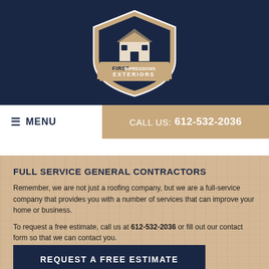[Figure (logo): First Impressions Exteriors Inc. logo — shield shape with house illustration, dark navy and gold colors]
☰ MENU
CALL US: 612-532-2036
FULL SERVICE GENERAL CONTRACTORS
Remember, we are not just a roofing company, but we are a full-service company that provides you with a number of services that can improve your home or business.
To request a free estimate, call us at 612-532-2036 or fill out our contact form so that we can contact you.
REQUEST A FREE ESTIMATE